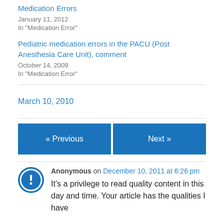Medication Errors
January 11, 2012
In "Medication Error"
Pediatric medication errors in the PACU (Post Anesthesia Care Unit), comment
October 14, 2009
In "Medication Error"
March 10, 2010
« Previous
Next »
Anonymous on December 10, 2011 at 6:26 pm
It's a privilege to read quality content in this day and time. Your article has the qualities I have